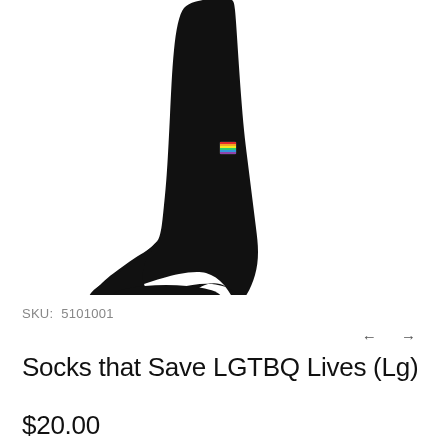[Figure (photo): Black sock on a foot/leg, elevated at an angle against white background, featuring a small rainbow pride flag emblem on the ankle area.]
SKU: 5101001
Socks that Save LGTBQ Lives (Lg)
$20.00